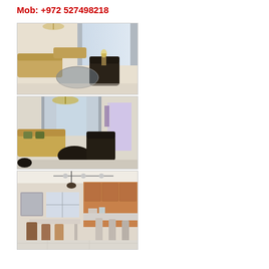Mob: +972 527498218
[Figure (photo): Interior living room photo showing sofas, dark armchair, glass coffee table, chandelier, and bright windows with curtains]
[Figure (photo): Another angle of the same living room showing chandelier, sofas, dark armchair, curtained windows and a door]
[Figure (photo): Kitchen and dining area with wooden cabinets, dining table with chairs, track lighting on ceiling, and marble floor]